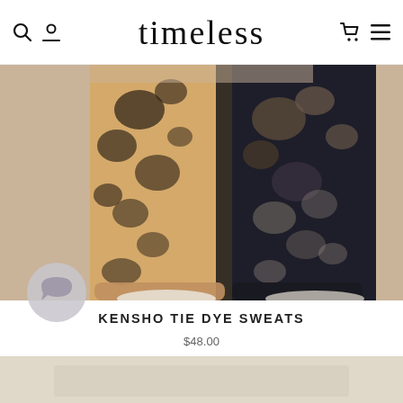timeless
[Figure (photo): Model wearing tie dye sweatpants in tan/black colorblock pattern, photo cropped at torso and legs, white sneakers visible at bottom]
KENSHO TIE DYE SWEATS
$48.00
[Figure (photo): Partial bottom strip showing another product image]